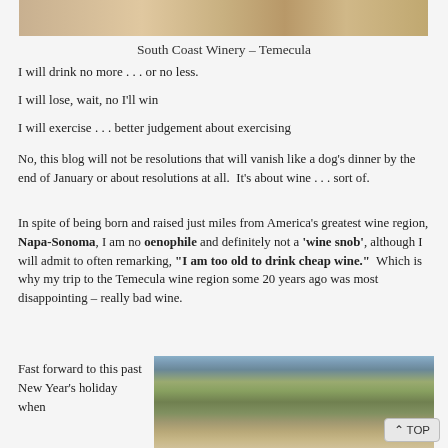[Figure (photo): Top portion of South Coast Winery outdoor area with garden and walkway – Temecula]
South Coast Winery – Temecula
I will drink no more . . . or no less.
I will lose, wait, no I'll win
I will exercise . . . better judgement about exercising
No, this blog will not be resolutions that will vanish like a dog's dinner by the end of January or about resolutions at all.  It's about wine . . . sort of.
In spite of being born and raised just miles from America's greatest wine region, Napa-Sonoma, I am no oenophile and definitely not a 'wine snob', although I will admit to often remarking, "I am too old to drink cheap wine."  Which is why my trip to the Temecula wine region some 20 years ago was most disappointing – really bad wine.
Fast forward to this past New Year's holiday when
[Figure (photo): Temecula wine region landscape with hills, trees, and winery buildings]